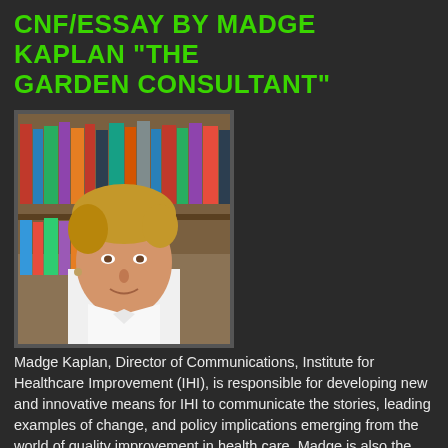CNF/ESSAY BY MADGE KAPLAN "THE GARDEN CONSULTANT"
[Figure (photo): Portrait photo of Madge Kaplan, a middle-aged woman with short blonde/brown hair, wearing a white collared shirt, standing in front of a bookshelf.]
Madge Kaplan, Director of Communications, Institute for Healthcare Improvement (IHI), is responsible for developing new and innovative means for IHI to communicate the stories, leading examples of change, and policy implications emerging from the world of quality improvement in health care. Madge is also the host and producer of IHI's online audio "talk show" called WIHI, a program she conceived of and founded in 2009.  Madge came to IHI after a 20-year career in broadcast journalism for public radio. She began exploring non-fiction and playwriting more than a decade ago. Many of her essays have aired on radio or been